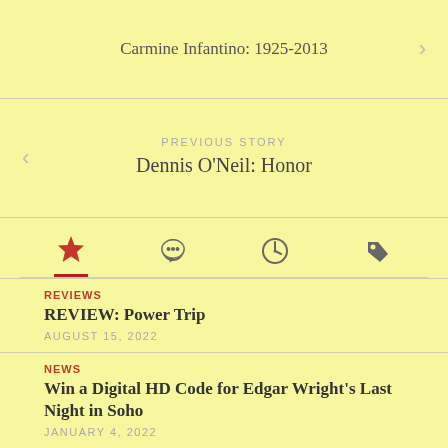Carmine Infantino: 1925-2013
PREVIOUS STORY
Dennis O'Neil: Honor
[Figure (other): Tab bar with four icons: star (active, red), speech bubble, clock, and tag]
REVIEWS
REVIEW: Power Trip
AUGUST 15, 2022
NEWS
Win a Digital HD Code for Edgar Wright's Last Night in Soho
JANUARY 4, 2022